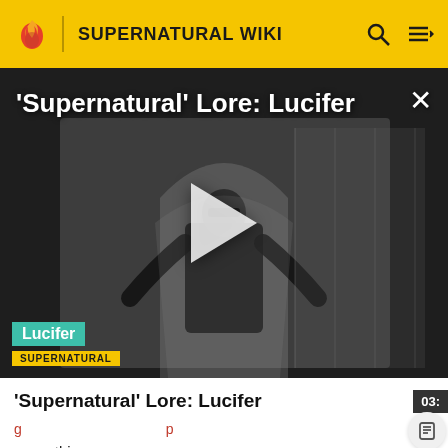SUPERNATURAL WIKI
[Figure (screenshot): Video thumbnail showing a man in dark suit and sunglasses sitting on a large chair/throne in a bright room. A play button overlay is visible in the center. Bottom left shows 'Lucifer' label in teal and 'SUPERNATURAL' in yellow.]
'Supernatural' Lore: Lucifer
unworthiness.
Naturally, being cast out of Heaven enraged Lucifer, and